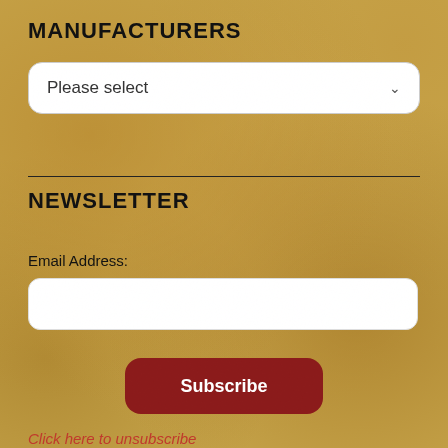MANUFACTURERS
[Figure (screenshot): Dropdown select box with 'Please select' placeholder and chevron arrow]
NEWSLETTER
Email Address:
[Figure (screenshot): Email address text input field]
[Figure (screenshot): Dark red Subscribe button]
Click here to unsubscribe
ORIGINAL - VINTAGE